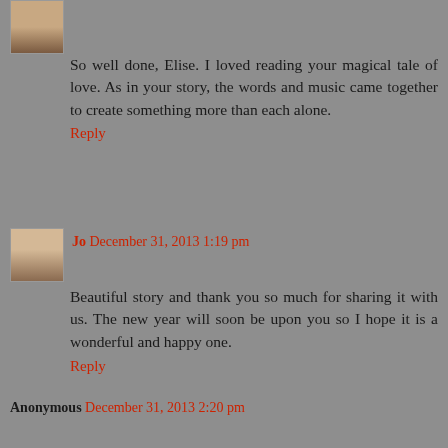So well done, Elise. I loved reading your magical tale of love. As in your story, the words and music came together to create something more than each alone.
Reply
Jo December 31, 2013 1:19 pm
Beautiful story and thank you so much for sharing it with us. The new year will soon be upon you so I hope it is a wonderful and happy one.
Reply
Anonymous December 31, 2013 2:20 pm
Oh, how I love this story, every enchanting word and imaginative turn:) A stunning vision of Ryo's music, Elise! Happy New Year--may it hold many new adventures:)
Reply